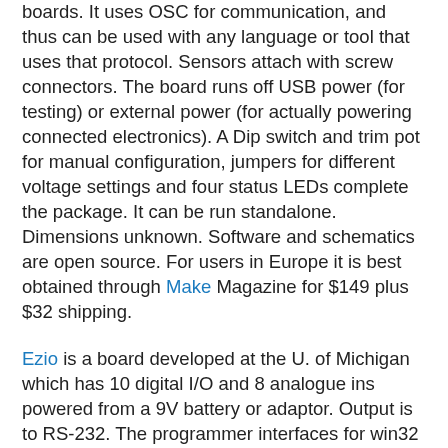boards. It uses OSC for communication, and thus can be used with any language or tool that uses that protocol. Sensors attach with screw connectors. The board runs off USB power (for testing) or external power (for actually powering connected electronics). A Dip switch and trim pot for manual configuration, jumpers for different voltage settings and four status LEDs complete the package. It can be run standalone. Dimensions unknown. Software and schematics are open source. For users in Europe it is best obtained through Make Magazine for $149 plus $32 shipping.
Ezio is a board developed at the U. of Michigan which has 10 digital I/O and 8 analogue ins powered from a 9V battery or adaptor. Output is to RS-232. The programmer interfaces for win32 and Mac include Director, Max/MXP and Processing. The I/O connectors are screw type, dimensions are unknown. The designer's page has some additional info. The unit is $179 plus $60 international shipping though a $50 educational discount is available.
BlueSense have nine different modular boards ranging in